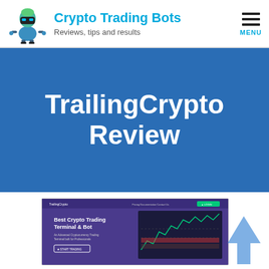Crypto Trading Bots — Reviews, tips and results
TrailingCrypto Review
[Figure (screenshot): Screenshot of the TrailingCrypto website homepage showing 'Best Crypto Trading Terminal & Bot' with navigation bar and a trading chart interface on a purple/dark background.]